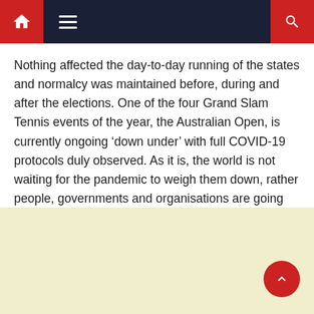Navigation bar with home, menu, and search icons
Nothing affected the day-to-day running of the states and normalcy was maintained before, during and after the elections. One of the four Grand Slam Tennis events of the year, the Australian Open, is currently ongoing ‘down under’ with full COVID-19 protocols duly observed. As it is, the world is not waiting for the pandemic to weigh them down, rather people, governments and organisations are going about their normal day-to-day activities with caution. During the week, Nigeria’s mini Olympics, the National Sports Festival, was again postponed for the third time.